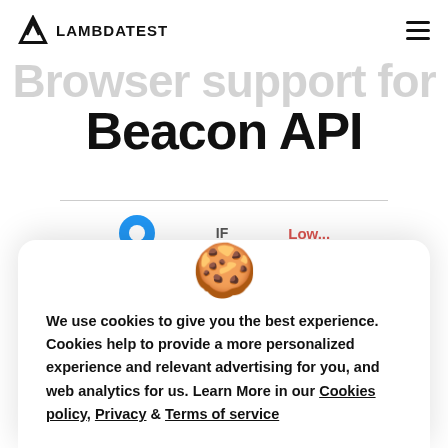LAMBDATEST
Browser support for Beacon API
[Figure (screenshot): Cookie consent modal popup with cookie emoji, text about cookies policy, and Allow Cookie / Cancel buttons on LambdaTest website]
We use cookies to give you the best experience. Cookies help to provide a more personalized experience and relevant advertising for you, and web analytics for us. Learn More in our Cookies policy, Privacy & Terms of service
Allow Cookie
Cancel